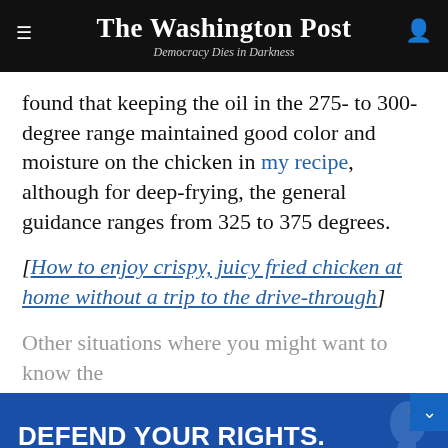The Washington Post — Democracy Dies in Darkness
found that keeping the oil in the 275- to 300-degree range maintained good color and moisture on the chicken in my recipe, although for deep-frying, the general guidance ranges from 325 to 375 degrees.
[How to enjoy crispy, juicy fried chicken at home without a trip to the drive-through]
Other situations where you might want to know the
[Figure (other): ACLU advertisement banner: 'DEFEND YOUR RIGHTS. DONATE TODAY.' with a MATCH MY GIFT button on a blue background with faded Statue of Liberty image.]